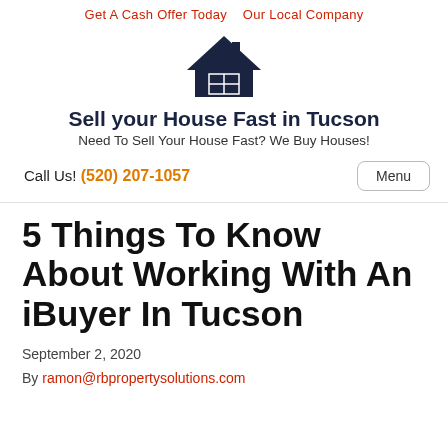Get A Cash Offer Today   Our Local Company
[Figure (illustration): House icon/logo with roof and grid window in dark navy color]
Sell your House Fast in Tucson
Need To Sell Your House Fast? We Buy Houses!
Call Us! (520) 207-1057
5 Things To Know About Working With An iBuyer In Tucson
September 2, 2020
By ramon@rbpropertysolutions.com